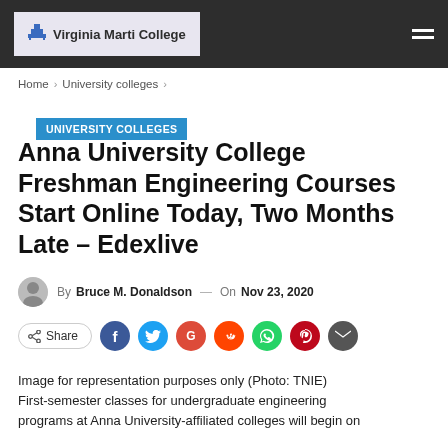Virginia Marti College
Home > University colleges >
UNIVERSITY COLLEGES
Anna University College Freshman Engineering Courses Start Online Today, Two Months Late – Edexlive
By Bruce M. Donaldson — On Nov 23, 2020
[Figure (infographic): Share buttons row: Share, Facebook, Twitter, Google, Reddit, WhatsApp, Pinterest, Email]
Image for representation purposes only (Photo: TNIE) First-semester classes for undergraduate engineering programs at Anna University-affiliated colleges will begin on